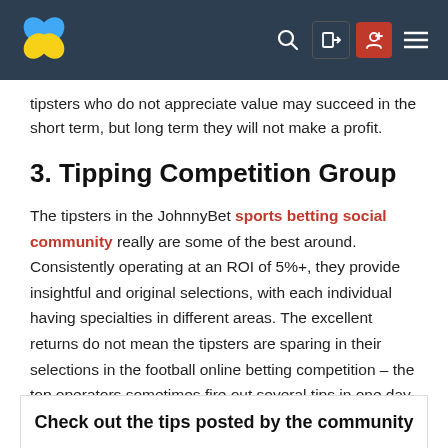[Figure (logo): JohnnyBet clover logo in blue and yellow, navigation bar with search, login, register, and menu icons]
tipsters who do not appreciate value may succeed in the short term, but long term they will not make a profit.
3. Tipping Competition Group
The tipsters in the JohnnyBet sports betting social community really are some of the best around. Consistently operating at an ROI of 5%+, they provide insightful and original selections, with each individual having specialties in different areas. The excellent returns do not mean the tipsters are sparing in their selections in the football online betting competition – the top operators sometimes fire out several tips in one day.
Check out the tips posted by the community